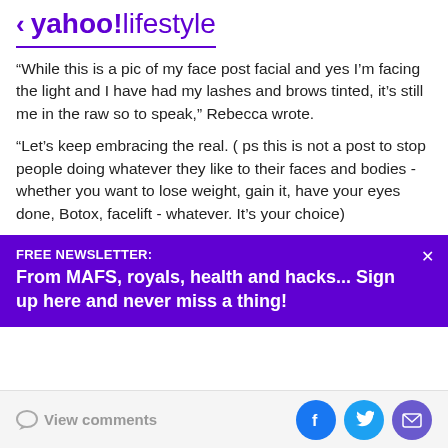< yahoo!lifestyle
“While this is a pic of my face post facial and yes I’m facing the light and I have had my lashes and brows tinted, it’s still me in the raw so to speak,” Rebecca wrote.
“Let’s keep embracing the real. ( ps this is not a post to stop people doing whatever they like to their faces and bodies - whether you want to lose weight, gain it, have your eyes done, Botox, facelift - whatever. It’s your choice)
FREE NEWSLETTER:
From MAFS, royals, health and hacks... Sign up here and never miss a thing!
View comments